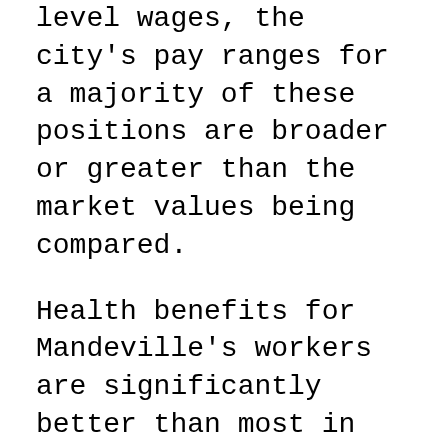level wages, the city's pay ranges for a majority of these positions are broader or greater than the market values being compared.
Health benefits for Mandeville's workers are significantly better than most in our market, with no premiums for individuals and only $60 per month for families. The city's employees also enjoy a $0 annual in-network deductible while all other municipalities in the comparison — Covington, Slidell, Hammond and Tangipahoa Parish — have in-network deductibles ranging from $1,500 to